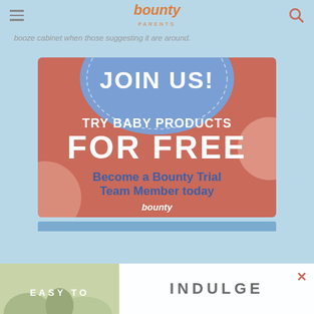bounty PARENTS
booze cabinet when those suggesting it are around.
[Figure (infographic): Bounty Parents promotional banner: JOIN US! TRY BABY PRODUCTS FOR FREE. Become a Bounty Trial Team Member today. Bounty Parents logo at bottom. Orange/red background with blue circle at top and peach accent circles.]
[Figure (infographic): Bottom overlay advertisement banner with text EASY TO INDULGE on white/light background with close button.]